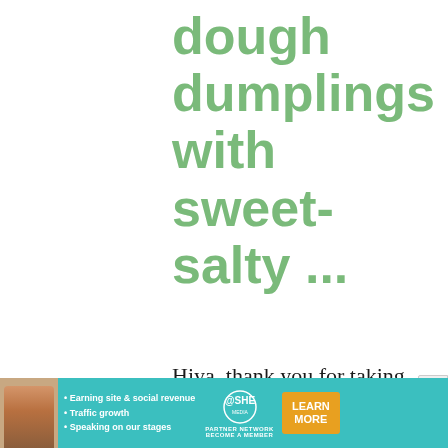dough dumplings with sweet-salty ...
Hiya, thank you for taking the time to post this recipe ^^

I admit I tried this recipe on whim, but I'm not sure if my results are correct.
[Figure (infographic): Advertisement banner for SHE Partner Network with a woman's photo, bullet points about earning site and social revenue, traffic growth, speaking on stages, SHE media logo, and a Learn More button.]